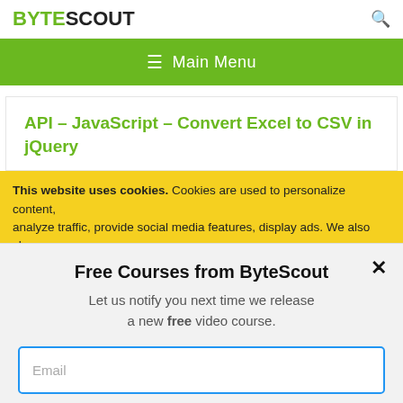BYTESCOUT
≡ Main Menu
API – JavaScript – Convert Excel to CSV in jQuery
This website uses cookies. Cookies are used to personalize content, analyze traffic, provide social media features, display ads. We also share
Free Courses from ByteScout
Let us notify you next time we release a new free video course.
Email
SUBSCRIBE